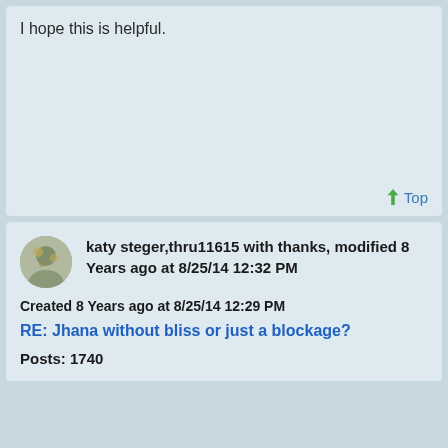I hope this is helpful.
Top
katy steger,thru11615 with thanks, modified 8 Years ago at 8/25/14 12:32 PM
Created 8 Years ago at 8/25/14 12:29 PM
RE: Jhana without bliss or just a blockage?
Posts: 1740